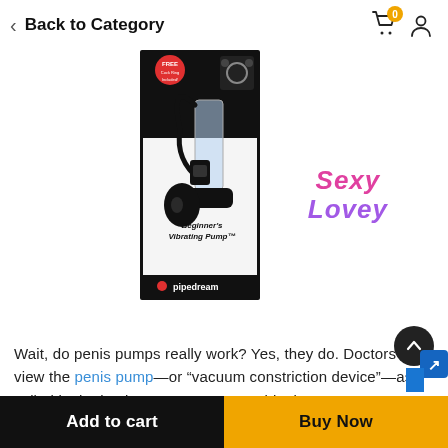< Back to Category
[Figure (photo): Product photo of Pipedream Beginner's Vibrating Pump in packaging box, with pump device visible]
Sexy Lovey (brand logo)
Wait, do penis pumps really work? Yes, they do. Doctors view the penis pump—or “vacuum constriction device”—as called in the business—as a reasonable, low-cost tre...
Add to cart
Buy Now